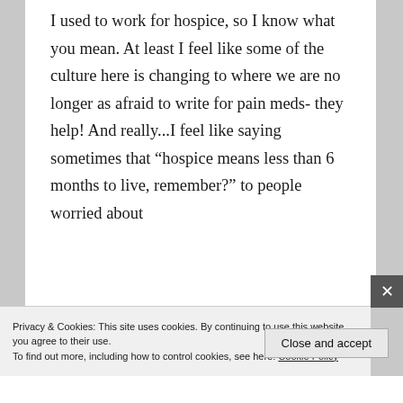I used to work for hospice, so I know what you mean. At least I feel like some of the culture here is changing to where we are no longer as afraid to write for pain meds- they help! And really...I feel like saying sometimes that “hospice means less than 6 months to live, remember?” to people worried about
Privacy & Cookies: This site uses cookies. By continuing to use this website, you agree to their use.
To find out more, including how to control cookies, see here: Cookie Policy
Close and accept